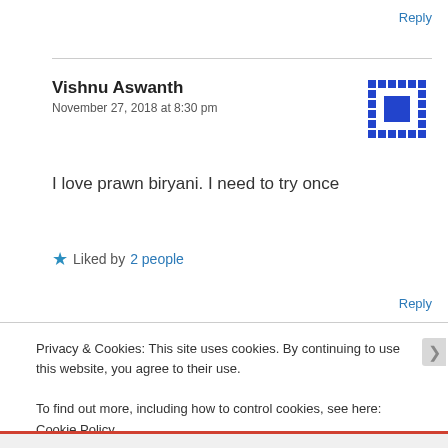Reply
Vishnu Aswanth
November 27, 2018 at 8:30 pm
[Figure (other): Blue pixel avatar icon]
I love prawn biryani. I need to try once
★ Liked by 2 people
Reply
Privacy & Cookies: This site uses cookies. By continuing to use this website, you agree to their use.
To find out more, including how to control cookies, see here: Cookie Policy
Close and accept